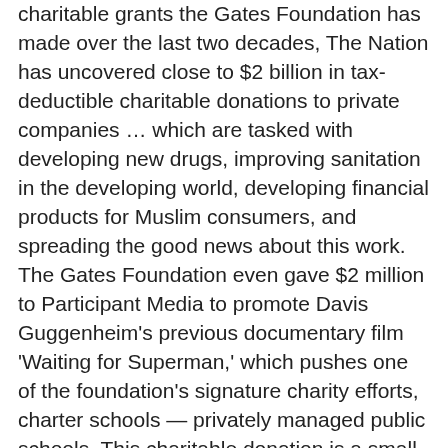charitable grants the Gates Foundation has made over the last two decades, The Nation has uncovered close to $2 billion in tax-deductible charitable donations to private companies … which are tasked with developing new drugs, improving sanitation in the developing world, developing financial products for Muslim consumers, and spreading the good news about this work. The Gates Foundation even gave $2 million to Participant Media to promote Davis Guggenheim's previous documentary film 'Waiting for Superman,' which pushes one of the foundation's signature charity efforts, charter schools — privately managed public schools. This charitable donation is a small part of the $250 million the foundation has given to media companies and other groups to influence the news. 'It's been a quite unprecedented development, the amount that the Gates Foundation is gifting to corporations … I find that flabbergasting, frankly,' says Linsey McGoey, a professor of sociology at the University of Essex and author of the book 'No Such Thing as a Free Gift.' 'They've created one of the most problematic